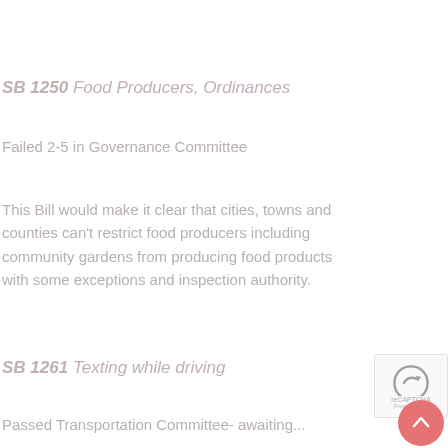SB 1250 Food Producers, Ordinances
Failed 2-5 in Governance Committee
This Bill would make it clear that cities, towns and counties can't restrict food producers including community gardens from producing food products with some exceptions and inspection authority.
SB 1261 Texting while driving
Passed Transportation Committee- awaiting...